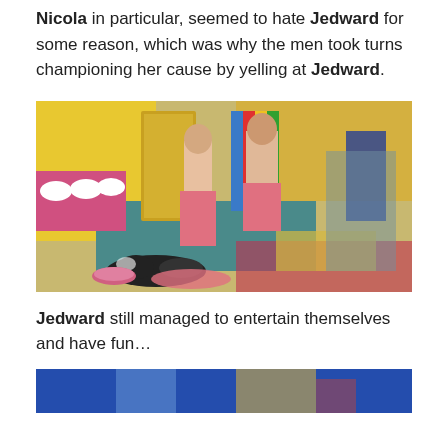Nicola in particular, seemed to hate Jedward for some reason, which was why the men took turns championing her cause by yelling at Jedward.
[Figure (photo): Two young men wearing pink towels standing in a colourful Big Brother house bathroom with yellow walls, a pink countertop with white sinks, and a dog lying on a pink towel on the floor.]
Jedward still managed to entertain themselves and have fun…
[Figure (photo): Partial view of another photo, appears to show a colourful room with blue lighting.]